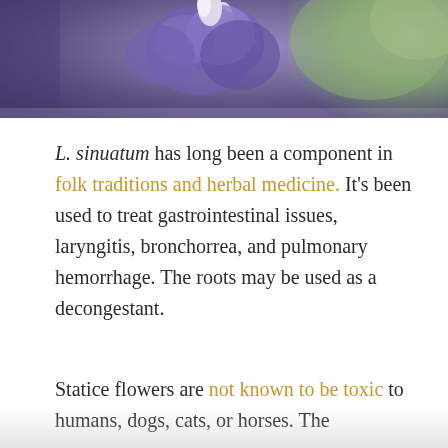[Figure (photo): Close-up photograph of purple Limonium sinuatum (statice) flowers with blurred green background]
L. sinuatum has long been a component in folk traditions and herbal medicine. It's been used to treat gastrointestinal issues, laryngitis, bronchorrea, and pulmonary hemorrhage. The roots may be used as a decongestant.
Statice flowers are not known to be toxic to humans, dogs, cats, or horses. The brightly colored clouds of flowers attract pollinators...